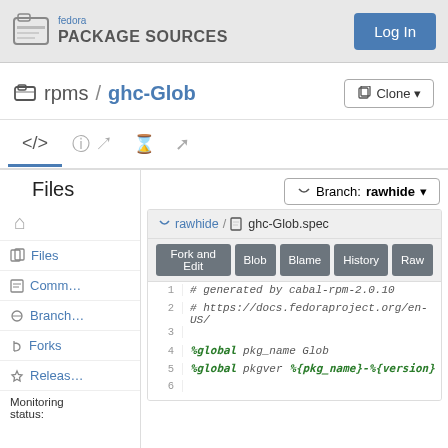fedora PACKAGE SOURCES
rpms / ghc-Glob
Files
Branch: rawhide
rawhide / ghc-Glob.spec
Fork and Edit | Blob | Blame | History | Raw
1  # generated by cabal-rpm-2.0.10
2  # https://docs.fedoraproject.org/en-US/
3
4  %global pkg_name Glob
5  %global pkgver %{pkg_name}-%{version}
6
Files | Commits | Branches | Forks | Releases | Monitoring status: